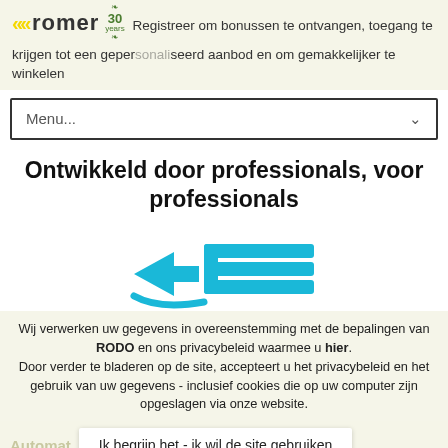Registreer om bonussen te ontvangen, toegang te krijgen tot een gepersonaliseerd aanbod en om gemakkelijker te winkelen
Menu...
Ontwikkeld door professionals, voor professionals
[Figure (logo): Cyan/blue stylized logo with arrow and grid/ladder shape — Romer brand logo]
Wij verwerken uw gegevens in overeenstemming met de bepalingen van RODO en ons privacybeleid waarmee u hier. Door verder te bladeren op de site, accepteert u het privacybeleid en het gebruik van uw gegevens - inclusief cookies die op uw computer zijn opgeslagen via onze website.
Ik begrijp het - ik wil de site gebruiken